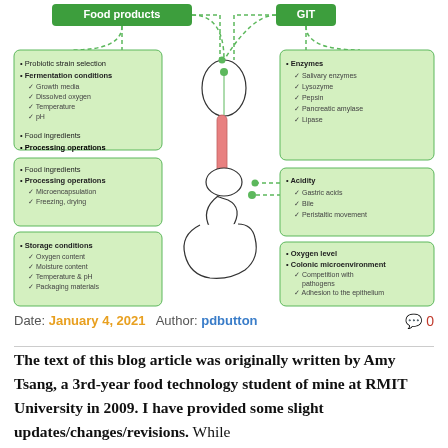[Figure (infographic): Diagram showing factors affecting probiotic survival in food products (left boxes) and GIT conditions (right boxes), with a central illustration of the human gastrointestinal tract. Left boxes cover: probiotic strain selection, fermentation conditions (growth media, dissolved oxygen, temperature, pH), food ingredients, processing operations (microencapsulation, freezing/drying), storage conditions (oxygen content, moisture content, temperature & pH, packaging materials). Right boxes cover: Enzymes (salivary enzymes, lysozyme, pepsin, pancreatic amylase, lipase), Acidity (gastric acids, bile, peristaltic movement), Oxygen level, Colonic microenvironment (competition with pathogens, adhesion to the epithelium). Top header boxes: 'Food products' and 'GIT' in green.]
Date: January 4, 2021   Author: pdbutton   🗨 0
The text of this blog article was originally written by Amy Tsang, a 3rd-year food technology student of mine at RMIT University in 2009. I have provided some slight updates/changes/revisions. While